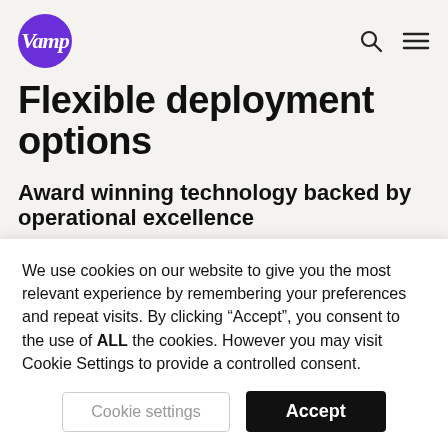[Figure (logo): Vamp logo: white cursive text on purple circle]
Flexible deployment options
Award winning technology backed by operational excellence
Customers can choose between Vamp's flexible pay-as-you-go solution to run their own...
We use cookies on our website to give you the most relevant experience by remembering your preferences and repeat visits. By clicking “Accept”, you consent to the use of ALL the cookies. However you may visit Cookie Settings to provide a controlled consent.